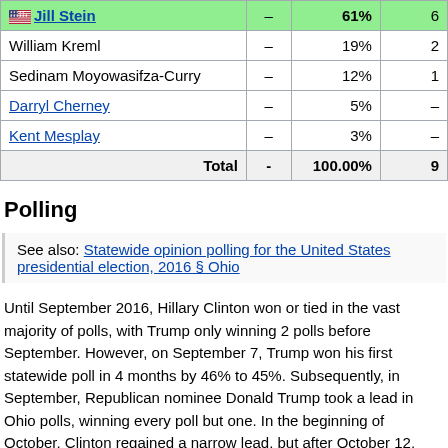| Candidate |  | Percentage | Votes |
| --- | --- | --- | --- |
| Jill Stein | – | 61% | 6 |
| William Kreml | – | 19% | 2 |
| Sedinam Moyowasifza-Curry | – | 12% | 1 |
| Darryl Cherney | – | 5% | – |
| Kent Mesplay | – | 3% | – |
| Total | - | 100.00% | 9 |
Polling
See also: Statewide opinion polling for the United States presidential election, 2016 § Ohio
Until September 2016, Hillary Clinton won or tied in the vast majority of polls, with Trump only winning 2 polls before September. However, on September 7, Trump won his first statewide poll in 4 months by 46% to 45%. Subsequently, in September, Republican nominee Donald Trump took a lead in Ohio polls, winning every poll but one. In the beginning of October, Clinton regained a narrow lead, but after October 12, every poll except one ended with Trump winning or a tie. The average of the final three polls showed Trump leading 46% to 44%. The final poll showed Trump ahead 46% to 39%, which was